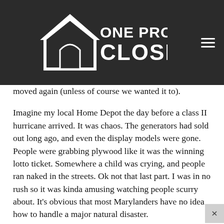ONE PROJECT CLOSER
moved again (unless of course we wanted it to).
Imagine my local Home Depot the day before a class II hurricane arrived. It was chaos. The generators had sold out long ago, and even the display models were gone. People were grabbing plywood like it was the winning lotto ticket. Somewhere a child was crying, and people ran naked in the streets. Ok not that last part. I was in no rush so it was kinda amusing watching people scurry about. It's obvious that most Marylanders have no idea how to handle a major natural disaster.
I calmly purchased a box of concrete anchors, washers and four T-shaped ties you might see on a deck. My plan was to put one anchor in the shed 4×4 and two in the concrete